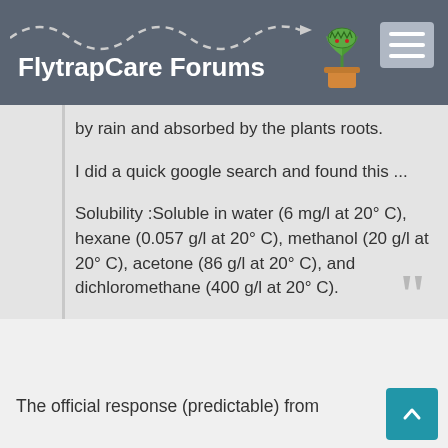FlytrapCare Forums
by rain and absorbed by the plants roots.
I did a quick google search and found this ...
Solubility :Soluble in water (6 mg/l at 20° C), hexane (0.057 g/l at 20° C), methanol (20 g/l at 20° C), acetone (86 g/l at 20° C), and dichloromethane (400 g/l at 20° C).
The official response (predictable) from